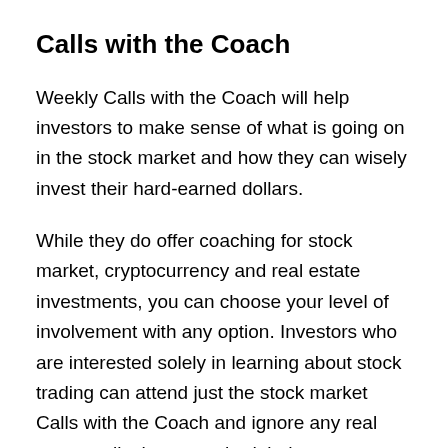Calls with the Coach
Weekly Calls with the Coach will help investors to make sense of what is going on in the stock market and how they can wisely invest their hard-earned dollars.
While they do offer coaching for stock market, cryptocurrency and real estate investments, you can choose your level of involvement with any option. Investors who are interested solely in learning about stock trading can attend just the stock market Calls with the Coach and ignore any real estate calls that are scheduled.